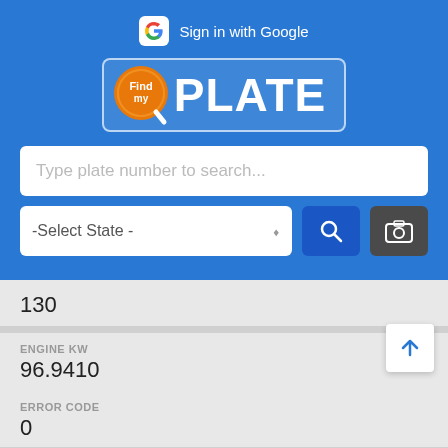[Figure (screenshot): Sign in with Google button with Google G logo in white rounded square]
[Figure (logo): FindMY PLATE app logo with orange circle containing Find text and magnifying glass, followed by PLATE text in white]
Type plate number to search...
-Select State -
130
ENGINE KW
96.9410
ERROR CODE
0
ERROR TEXT